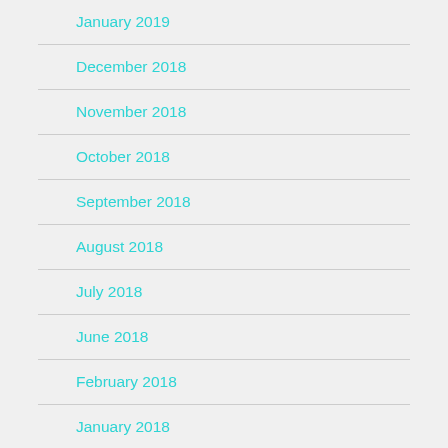January 2019
December 2018
November 2018
October 2018
September 2018
August 2018
July 2018
June 2018
February 2018
January 2018
December 2017
November 2017